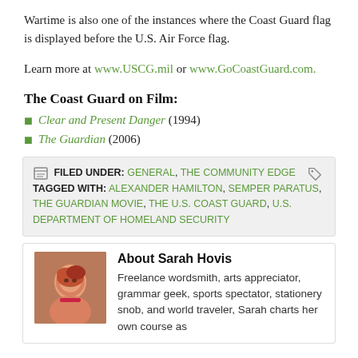Wartime is also one of the instances where the Coast Guard flag is displayed before the U.S. Air Force flag.
Learn more at www.USCG.mil or www.GoCoastGuard.com.
The Coast Guard on Film:
Clear and Present Danger (1994)
The Guardian (2006)
FILED UNDER: GENERAL, THE COMMUNITY EDGE   TAGGED WITH: ALEXANDER HAMILTON, SEMPER PARATUS, THE GUARDIAN MOVIE, THE U.S. COAST GUARD, U.S. DEPARTMENT OF HOMELAND SECURITY
About Sarah Hovis
Freelance wordsmith, arts appreciator, grammar geek, sports spectator, stationery snob, and world traveler, Sarah charts her own course as